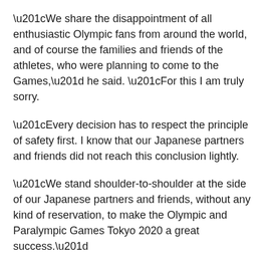“We share the disappointment of all enthusiastic Olympic fans from around the world, and of course the families and friends of the athletes, who were planning to come to the Games,” he said. “For this I am truly sorry.
“Every decision has to respect the principle of safety first. I know that our Japanese partners and friends did not reach this conclusion lightly.
“We stand shoulder-to-shoulder at the side of our Japanese partners and friends, without any kind of reservation, to make the Olympic and Paralympic Games Tokyo 2020 a great success.”
International Paralympic Committee president Andrew Parsons said “difficult decisions” had to be made with safety the “top priority”.